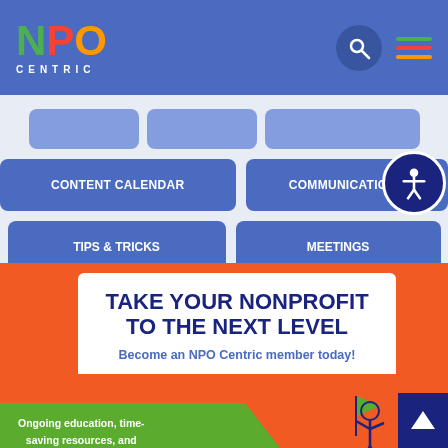[Figure (logo): NPO Centric logo with N in green, P in red, O in orange, and CENTRIC in dark text below]
CONTENT CALENDAR
COMMUNICATIONS
TIPS & TRICKS
MEETINGS
TAKE YOUR NONPROFIT TO THE NEXT LEVEL
Become an NPO Centric member today!
Ongoing education, time-saving resources, and daily support all in one monthly membership!